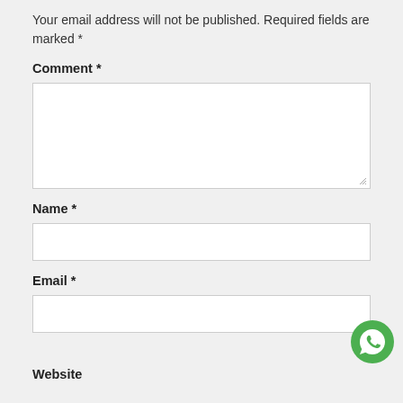Your email address will not be published. Required fields are marked *
Comment *
[Figure (other): Large comment text area input box]
Name *
[Figure (other): Name text input box]
Email *
[Figure (other): Email text input box]
[Figure (other): WhatsApp floating button icon]
Website